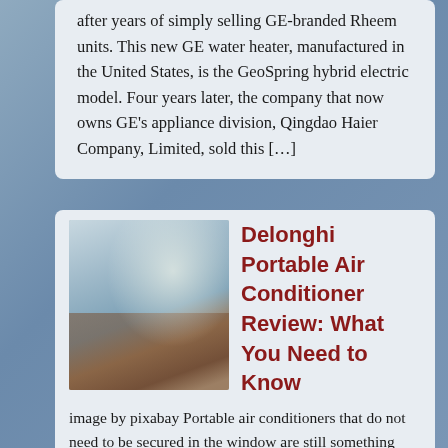after years of simply selling GE-branded Rheem units. This new GE water heater, manufactured in the United States, is the GeoSpring hybrid electric model. Four years later, the company that now owns GE's appliance division, Qingdao Haier Company, Limited, sold this […]
[Figure (photo): Photo of a bedroom with a portable air conditioner unit, white bed, dresser, lamp, and window with natural light]
Delonghi Portable Air Conditioner Review: What You Need to Know
image by pixabay Portable air conditioners that do not need to be secured in the window are still something many potential buyers are trying to get